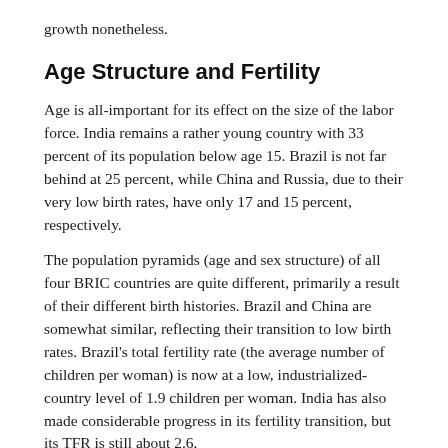growth nonetheless.
Age Structure and Fertility
Age is all-important for its effect on the size of the labor force. India remains a rather young country with 33 percent of its population below age 15. Brazil is not far behind at 25 percent, while China and Russia, due to their very low birth rates, have only 17 and 15 percent, respectively.
The population pyramids (age and sex structure) of all four BRIC countries are quite different, primarily a result of their different birth histories. Brazil and China are somewhat similar, reflecting their transition to low birth rates. Brazil's total fertility rate (the average number of children per woman) is now at a low, industrialized-country level of 1.9 children per woman. India has also made considerable progress in its fertility transition, but its TFR is still about 2.6.